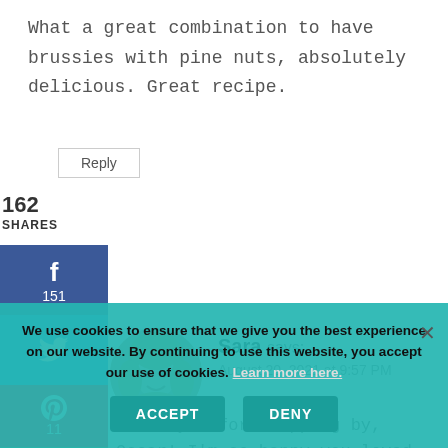What a great combination to have brussies with pine nuts, absolutely delicious. Great recipe.
Reply
162
SHARES
[Figure (infographic): Social share buttons: Facebook (151), Twitter, Pinterest (11), Email]
[Figure (photo): Circular profile photo of Sara, a blonde woman smiling]
Sara says:
August 20, 2021 at 9:57 PM
Thank you for stopping by, Oscar! I'm so happy you loved it.
We use cookies to ensure that we give you the best experience on our website. By continuing to use this website, you accept our use of cookies. Learn more here.
ACCEPT
DENY